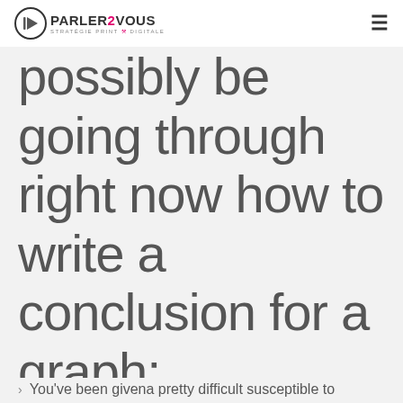PARLER2VOUS STRATÉGIE PRINT & DIGITALE
possibly be going through right now how to write a conclusion for a graph:
You've been givena pretty difficult susceptible to